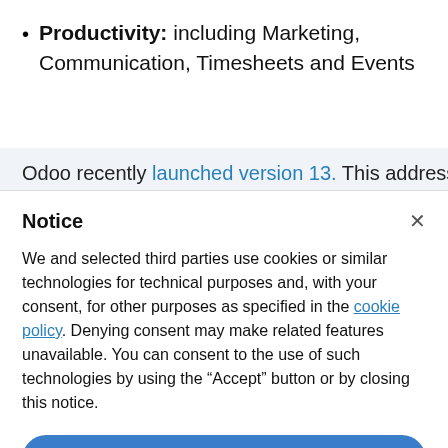Productivity: including Marketing, Communication, Timesheets and Events
Odoo recently launched version 13. This addresses
Notice
We and selected third parties use cookies or similar technologies for technical purposes and, with your consent, for other purposes as specified in the cookie policy. Denying consent may make related features unavailable. You can consent to the use of such technologies by using the “Accept” button or by closing this notice.
Accept
Learn more and customise